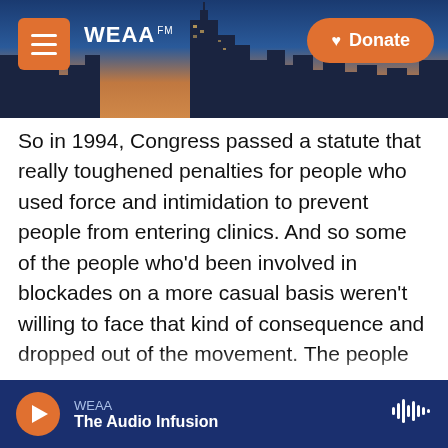[Figure (screenshot): WEAA radio website header with cityscape background, hamburger menu button on left, WEAA FM logo in center-left, and orange Donate button on right]
So in 1994, Congress passed a statute that really toughened penalties for people who used force and intimidation to prevent people from entering clinics. And so some of the people who'd been involved in blockades on a more casual basis weren't willing to face that kind of consequence and dropped out of the movement. The people who were left were sometimes more hardcore not just about blockades, but about the use of violence against clinics and even against doctors. And that kind of radicalization turned off some people from the blockade movement, delegitimized it in the eyes of many. And it, for a time, seems to have faded
WEAA — The Audio Infusion